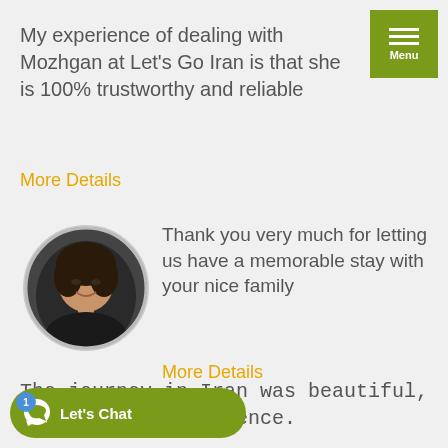My experience of dealing with Mozhgan at Let's Go Iran is that she is 100% trustworthy and reliable
More Details
[Figure (photo): Circular cropped portrait photo of a middle-aged woman with curly dark hair, smiling, dark background]
Thank you very much for letting us have a memorable stay with your nice family
More Details
The journey in Iran was beautiful, a wonderful experience.